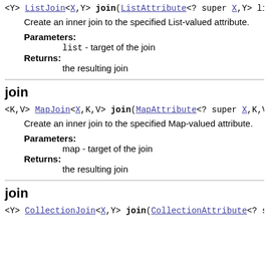<Y> ListJoin<X,Y> join(ListAttribute<? super X,Y> list)
Create an inner join to the specified List-valued attribute.
Parameters:
list - target of the join
Returns:
the resulting join
join
<K,V> MapJoin<X,K,V> join(MapAttribute<? super X,K,V> map
Create an inner join to the specified Map-valued attribute.
Parameters:
map - target of the join
Returns:
the resulting join
join
<Y> CollectionJoin<X,Y> join(CollectionAttribute<? super